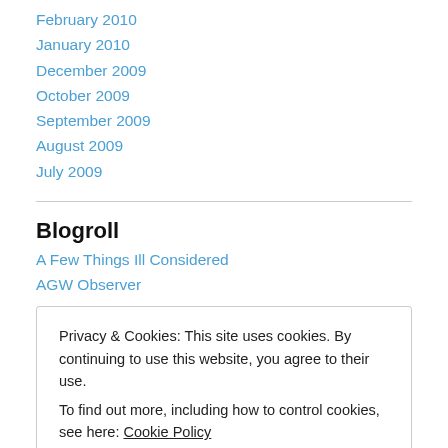February 2010
January 2010
December 2009
October 2009
September 2009
August 2009
July 2009
Blogroll
A Few Things Ill Considered
AGW Observer
Privacy & Cookies: This site uses cookies. By continuing to use this website, you agree to their use.
To find out more, including how to control cookies, see here: Cookie Policy
Close and accept
ClimateSight